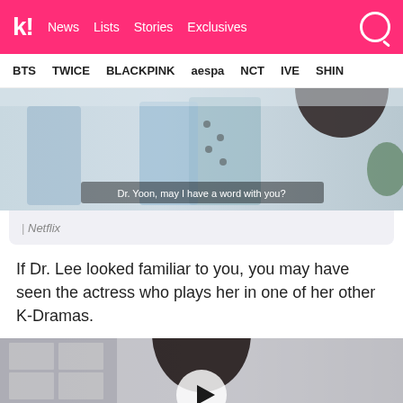k! News Lists Stories Exclusives
BTS TWICE BLACKPINK aespa NCT IVE SHIN
[Figure (screenshot): Scene from a Netflix K-Drama showing two people in an office/hospital setting with subtitle text: Dr. Yoon, may I have a word with you?]
| Netflix
If Dr. Lee looked familiar to you, you may have seen the actress who plays her in one of her other K-Dramas.
[Figure (screenshot): Video thumbnail showing a person in an office/hallway setting with a play button overlay]